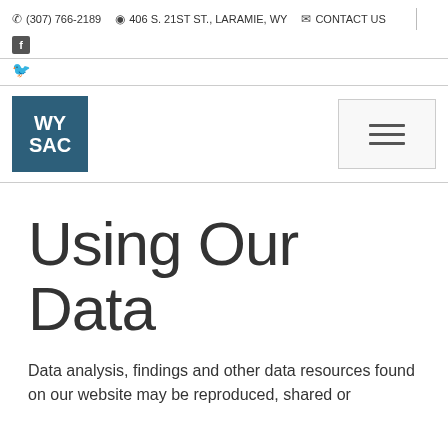(307) 766-2189  406 S. 21ST ST., LARAMIE, WY  CONTACT US
[Figure (logo): WYSAC logo — white text on dark teal/blue square background, reading WY SAC]
[Figure (other): Hamburger menu button with three horizontal lines]
Using Our Data
Data analysis, findings and other data resources found on our website may be reproduced, shared or